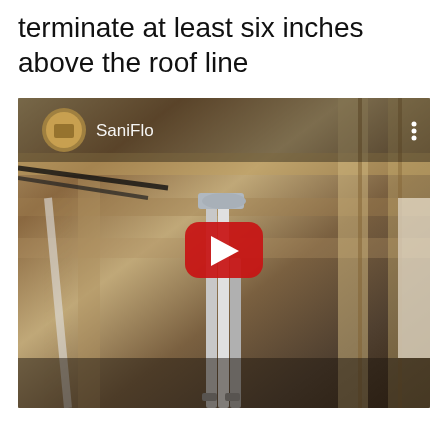terminate at least six inches above the roof line
[Figure (screenshot): YouTube video thumbnail showing a SaniFlo channel video. The thumbnail shows the interior of a building structure with exposed wooden beams and vertical pipes running through the framing, viewed from below. A red YouTube play button is centered on the image. The channel name 'SaniFlo' and a channel icon appear in the top left corner.]